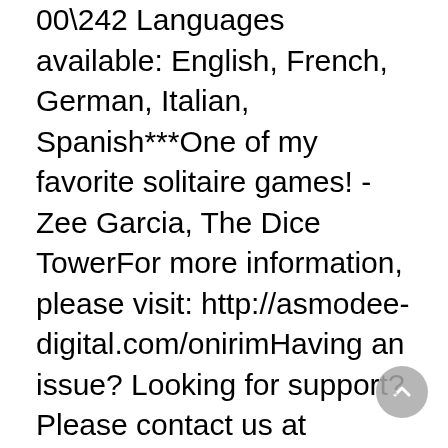00\242 Languages available: English, French, German, Italian, Spanish***One of my favorite solitaire games! - Zee Garcia, The Dice TowerFor more information, please visit: http://asmodee-digital.com/onirimHaving an issue? Looking for support? Please contact us at https://asmodee.helpshift.com/a/onirim/Find all the latest news for Onirim on Facebook, Instgram, Twitter and Youtube!Facebook: https://www.facebook.com/asmodeedigitalTwitter: https://twitter.com/asmodeedigitalInstagram: https://www.instagram.com/asmodeedigitalYouTube: https://www.youtube.com/asmodeedigital◆◆Everybody wants to drive the car at full speed, and unfortunately, that is not possible in real life. There is no plain long track where there is no one to go except you, but that is totally in virtual reality gaming where there is no traffic, no laws and regulations drive anytime and anywhere. As the racing gamine arsenal is on the boom, everyone is looking for a top-notch racing game.◆Block Blaster 3D! Mod Block Blaster 3D! Mod APK 0.2.5 Features:Drain all thingsBlast away at monstrous enemies with epic weapon